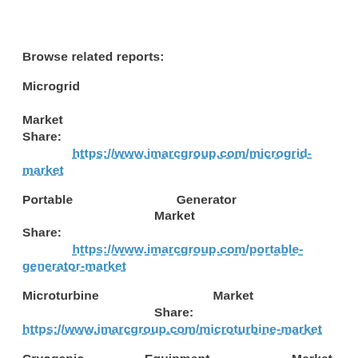Browse related reports:
Microgrid Market Share: https://www.imarcgroup.com/microgrid-market
Portable Generator Market Share: https://www.imarcgroup.com/portable-generator-market
Microturbine Market Share: https://www.imarcgroup.com/microturbine-market
Cryogenic Equipment Market Share: https://www.imarcgroup.com/cryogenic-equipment-market
Petroleum Coke Market Share: